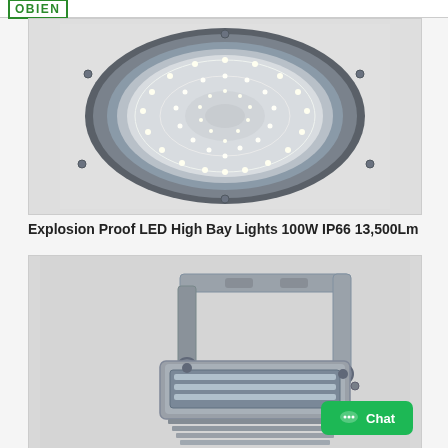OBIEN
[Figure (photo): Circular LED high bay light fixture viewed from below, showing concentric rings of LED chips on a silver/gray housing with blue-gray outer rim and mounting hardware.]
Explosion Proof LED High Bay Lights 100W IP66 13,500Lm
[Figure (photo): Gray metal LED flood light fixture with adjustable mounting bracket, viewed from an angle showing the bracket arm, housing body, and heat sink fins at bottom.]
Chat